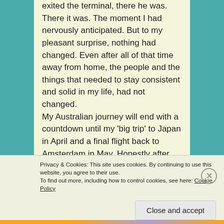exited the terminal, there he was. There it was. The moment I had nervously anticipated. But to my pleasant surprise, nothing had changed. Even after all of that time away from home, the people and the things that needed to stay consistent and solid in my life, had not changed.

My Australian journey will end with a countdown until my 'big trip' to Japan in April and a final flight back to Amsterdam in May. Honestly after that, I have no clue where my journey will lead. Last year I would've been panicking about not having a plan, but I've learned to embrace this adventurous lifestyle and relish in the fact that I have no idea. Moving
Privacy & Cookies: This site uses cookies. By continuing to use this website, you agree to their use.
To find out more, including how to control cookies, see here: Cookie Policy
Close and accept